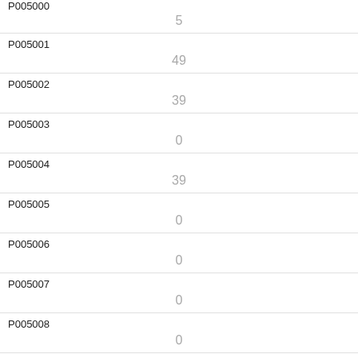| ID | Value |
| --- | --- |
| P005000 (partial) | 5 |
| P005001 | 49 |
| P005002 | 39 |
| P005003 | 0 |
| P005004 | 39 |
| P005005 | 0 |
| P005006 | 0 |
| P005007 | 0 |
| P005008 | 0 |
| P005009 | 0 |
| P005010 |  |